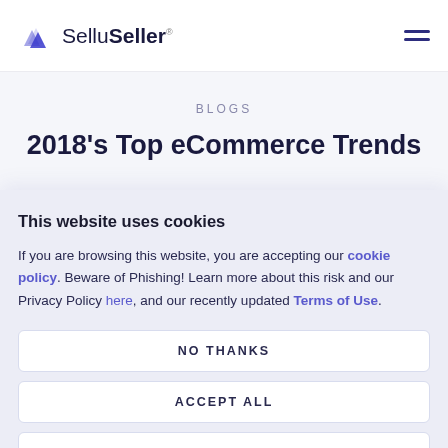SelluSeller
BLOGS
2018's Top eCommerce Trends
This website uses cookies
If you are browsing this website, you are accepting our cookie policy. Beware of Phishing! Learn more about this risk and our Privacy Policy here, and our recently updated Terms of Use.
NO THANKS
ACCEPT ALL
MANAGE